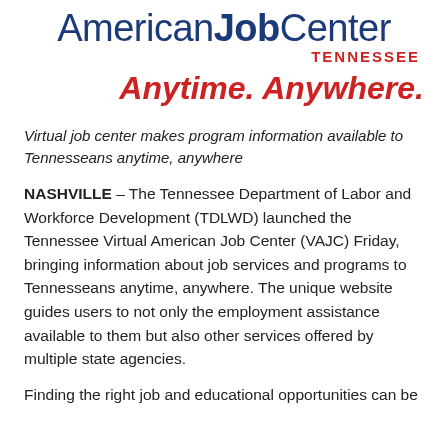[Figure (logo): American Job Center Tennessee logo — 'American' and 'Center' in blue light weight, 'Job' in blue bold, 'TENNESSEE' in red bold caps on the right]
Anytime. Anywhere.
Virtual job center makes program information available to Tennesseans anytime, anywhere
NASHVILLE – The Tennessee Department of Labor and Workforce Development (TDLWD) launched the Tennessee Virtual American Job Center (VAJC) Friday, bringing information about job services and programs to Tennesseans anytime, anywhere. The unique website guides users to not only the employment assistance available to them but also other services offered by multiple state agencies.
Finding the right job and educational opportunities can be